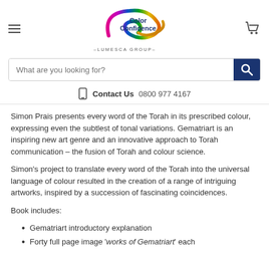[Figure (logo): Color Confidence - Lumesca Group logo with rainbow swoosh and text]
What are you looking for?
Contact Us  0800 977 4167
Simon Prais presents every word of the Torah in its prescribed colour, expressing even the subtlest of tonal variations. Gematriart is an inspiring new art genre and an innovative approach to Torah communication – the fusion of Torah and colour science.
Simon's project to translate every word of the Torah into the universal language of colour resulted in the creation of a range of intriguing artworks, inspired by a succession of fascinating coincidences.
Book includes:
Gematriart introductory explanation
Forty full page image 'works of Gematriart' each